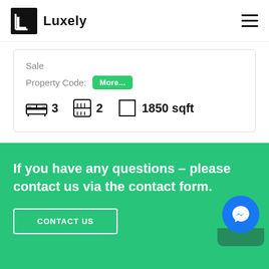Luxely
Sale
Property Code: More...
3  2  1850 sqft
If you have any questions – please contact us via the contact form.
CONTACT US